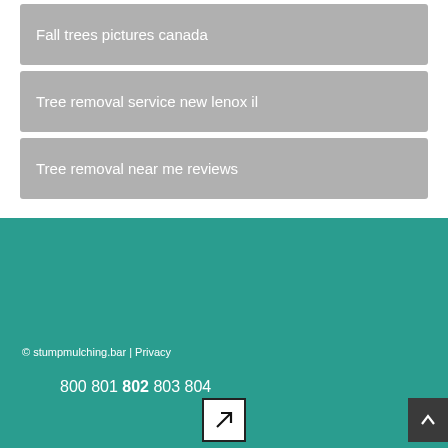Fall trees pictures canada
Tree removal service new lenox il
Tree removal near me reviews
© stumpmulching.bar | Privacy
800 801 802 803 804